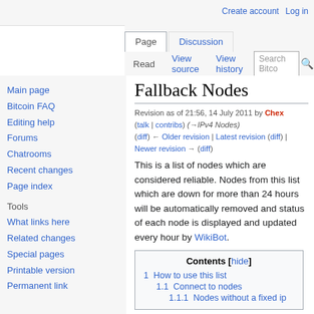Create account  Log in
Page  Discussion  Read  View source  View history  Search Bitco
Fallback Nodes
Revision as of 21:56, 14 July 2011 by Chex (talk | contribs) (→IPv4 Nodes)
(diff) ← Older revision | Latest revision (diff) | Newer revision → (diff)
This is a list of nodes which are considered reliable. Nodes from this list which are down for more than 24 hours will be automatically removed and status of each node is displayed and updated every hour by WikiBot.
Main page
Bitcoin FAQ
Editing help
Forums
Chatrooms
Recent changes
Page index
What links here
Related changes
Special pages
Printable version
Permanent link
| Contents [hide] |
| --- |
| 1  How to use this list |
| 1.1  Connect to nodes |
| 1.1.1  Nodes without a fixed ip |